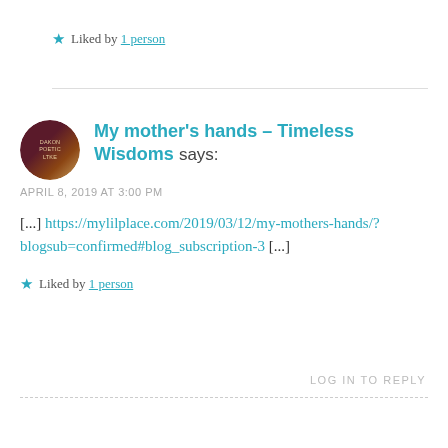★ Liked by 1 person
My mother's hands – Timeless Wisdoms says:
APRIL 8, 2019 AT 3:00 PM
[...] https://mylilplace.com/2019/03/12/my-mothers-hands/?blogsub=confirmed#blog_subscription-3 [...]
★ Liked by 1 person
LOG IN TO REPLY